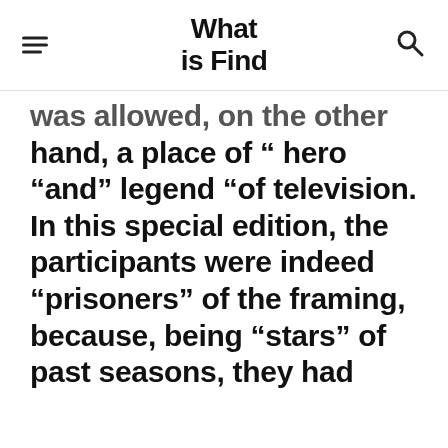What is Find
was allowed, on the other hand, a place of “ hero “and” legend “of television. In this special edition, the participants were indeed “prisoners” of the framing, because, being “stars” of past seasons, they had